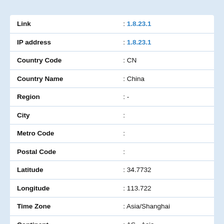| Field | Value |
| --- | --- |
| Link | : 1.8.23.1 |
| IP address | : 1.8.23.1 |
| Country Code | : CN |
| Country Name | : China |
| Region | : - |
| City | : |
| Metro Code | : |
| Postal Code | : |
| Latitude | : 34.7732 |
| Longitude | : 113.722 |
| Time Zone | : Asia/Shanghai |
| Continent | : AS - Asia |
| Internet Service Provider | : |